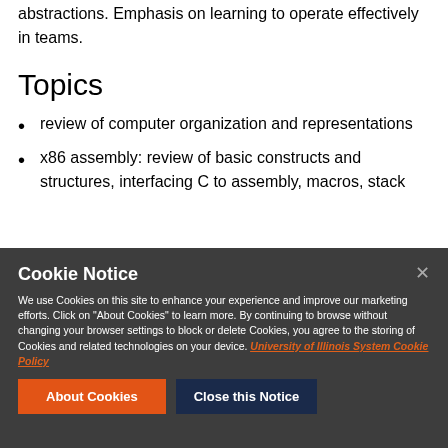abstractions. Emphasis on learning to operate effectively in teams.
Topics
review of computer organization and representations
x86 assembly: review of basic constructs and structures, interfacing C to assembly, macros, stack
Cookie Notice
We use Cookies on this site to enhance your experience and improve our marketing efforts. Click on “About Cookies” to learn more. By continuing to browse without changing your browser settings to block or delete Cookies, you agree to the storing of Cookies and related technologies on your device. University of Illinois System Cookie Policy
About Cookies
Close this Notice